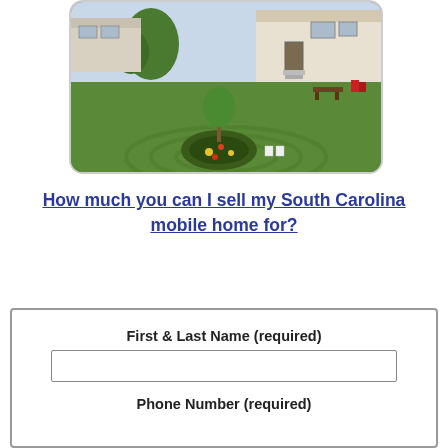[Figure (photo): Photo of a mobile home / manufactured home community with green lawn, driveway, trees, flower bed, and white chair in the foreground]
How much you can I sell my South Carolina mobile home for?
First & Last Name (required)
Phone Number (required)